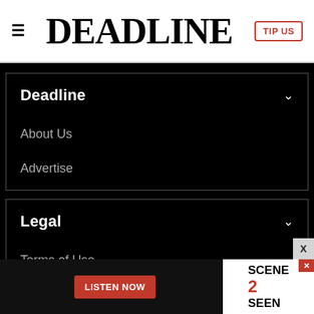DEADLINE
Deadline
About Us
Advertise
Legal
Terms of Use
[Figure (screenshot): Ad banner with LISTEN NOW button and SCENE 2 SEEN logo]